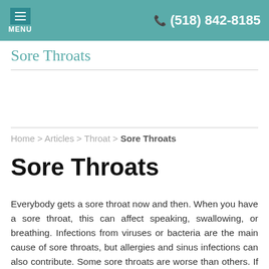MENU  (518) 842-8185
Sore Throats
Home > Articles > Throat > Sore Throats
Sore Throats
Everybody gets a sore throat now and then. When you have a sore throat, this can affect speaking, swallowing, or breathing. Infections from viruses or bacteria are the main cause of sore throats, but allergies and sinus infections can also contribute. Some sore throats are worse than others. If you have a sore throat that lasts for more than five to ten days, you should see